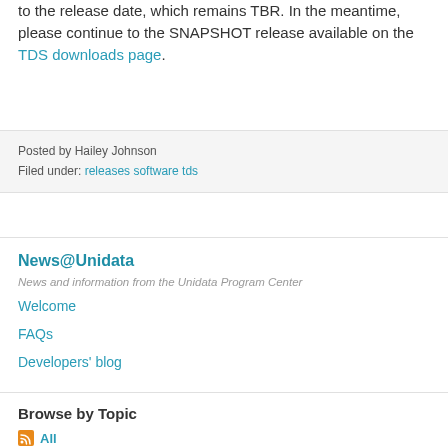to the release date, which remains TBR. In the meantime, please continue to the SNAPSHOT release available on the TDS downloads page.
Posted by Hailey Johnson
Filed under: releases software tds
News@Unidata
News and information from the Unidata Program Center
Welcome
FAQs
Developers' blog
Browse by Topic
All
Community (356)
Jobs (162)